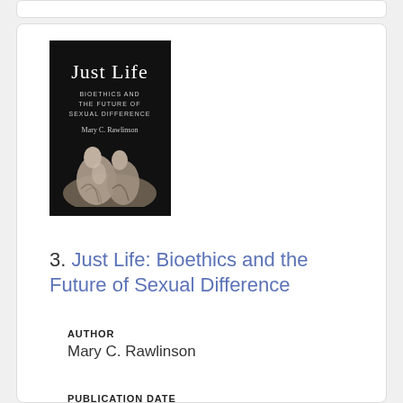[Figure (illustration): Book cover of 'Just Life: Bioethics and the Future of Sexual Difference' by Mary C. Rawlinson. Black background with title text in white and a stone sculpture of two figures at the bottom.]
3. Just Life: Bioethics and the Future of Sexual Difference
AUTHOR
Mary C. Rawlinson
PUBLICATION DATE